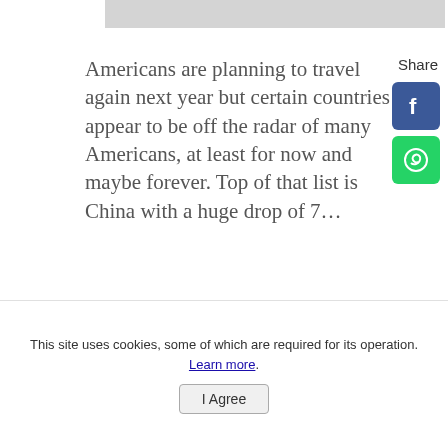[Figure (photo): Partial image strip at top of page, light gray/faded]
Americans are planning to travel again next year but certain countries appear to be off the radar of many Americans, at least for now and maybe forever. Top of that list is China with a huge drop of 7…
Read Mor
Share
[Figure (logo): Facebook share icon button (blue square with F logo)]
[Figure (logo): WhatsApp share icon button (green square with phone logo)]
The Essential Santorini Travel Guide
This site uses cookies, some of which are required for its operation. Learn more.
I Agree